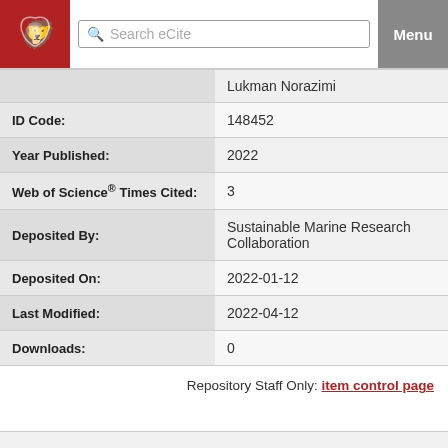Search eCite | Menu
| Field | Value |
| --- | --- |
|  | Lukman Norazimi |
| ID Code: | 148452 |
| Year Published: | 2022 |
| Web of Science® Times Cited: | 3 |
| Deposited By: | Sustainable Marine Research Collaboration |
| Deposited On: | 2022-01-12 |
| Last Modified: | 2022-04-12 |
| Downloads: | 0 |
Repository Staff Only: item control page